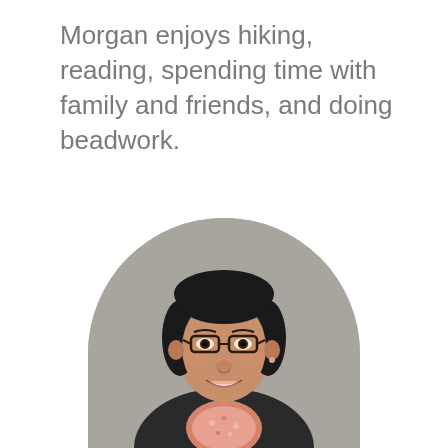Morgan enjoys hiking, reading, spending time with family and friends, and doing beadwork.
[Figure (photo): Professional headshot of Morgan, a woman with glasses and dark hair, wearing a dark blazer and floral scarf, smiling, set against a gray background in an arch-shaped frame.]